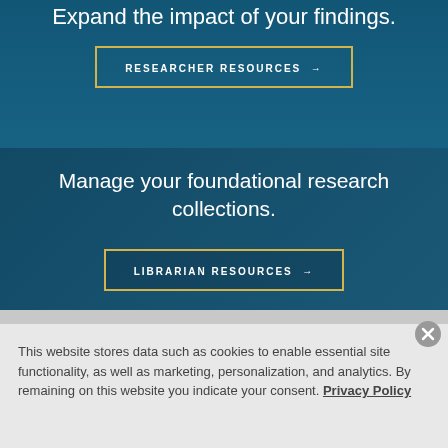Expand the impact of your findings.
RESEARCHER RESOURCES →
Manage your foundational research collections.
LIBRARIAN RESOURCES →
This website stores data such as cookies to enable essential site functionality, as well as marketing, personalization, and analytics. By remaining on this website you indicate your consent. Privacy Policy